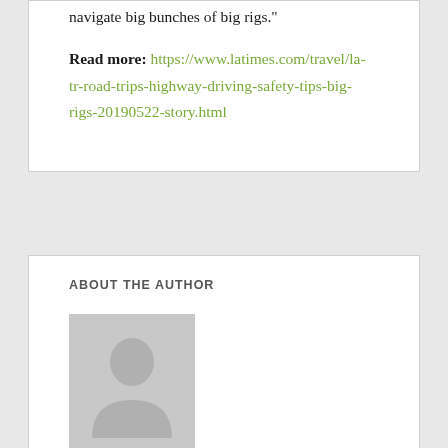navigate big bunches of big rigs.
Read more: https://www.latimes.com/travel/la-tr-road-trips-highway-driving-safety-tips-big-rigs-20190522-story.html
ABOUT THE AUTHOR
[Figure (photo): Default author avatar placeholder image showing a silhouette of a person on a grey background]